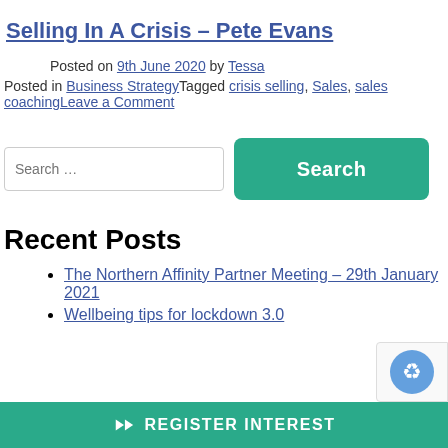Selling In A Crisis – Pete Evans
Posted on 9th June 2020 by Tessa
Posted in Business StrategyTagged crisis selling, Sales, sales coachingLeave a Comment
[Figure (screenshot): Search bar with text input field and teal Search button]
Recent Posts
The Northern Affinity Partner Meeting – 29th January 2021
Wellbeing tips for lockdown 3.0
REGISTER INTEREST